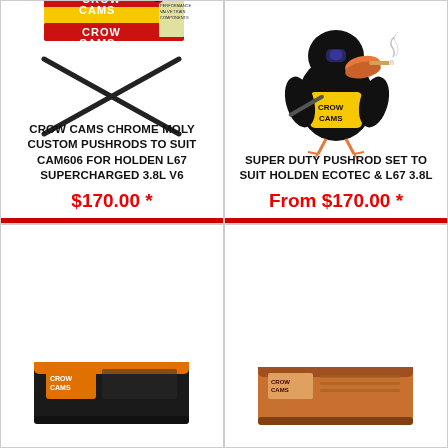[Figure (illustration): Crow Cams branded box (red and yellow) with two crossed pushrods below it]
CROW CAMS CHROME MOLY CUSTOM PUSHRODS TO SUIT CAM606 FOR HOLDEN L67 SUPERCHARGED 3.8L V6
$170.00 *
[Figure (illustration): Crow Cams cartoon mascot: a crow wearing sunglasses and a yellow vest labeled CROW CAMS, smoking a cigar and holding a pushrod]
SUPER DUTY PUSHROD SET TO SUIT HOLDEN ECOTEC & L67 3.8L
From $170.00 *
[Figure (illustration): Crow Cams black and orange product box, partially visible at bottom left]
[Figure (illustration): Crow Cams brown/orange product box, partially visible at bottom right]